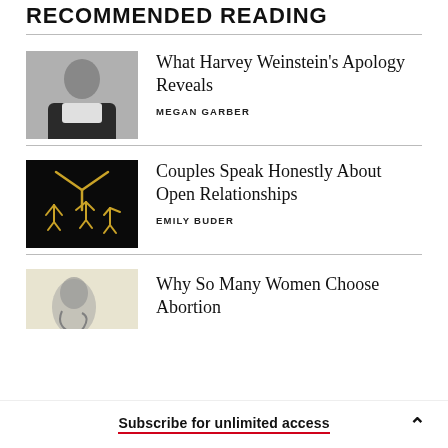RECOMMENDED READING
What Harvey Weinstein's Apology Reveals — MEGAN GARBER
Couples Speak Honestly About Open Relationships — EMILY BUDER
Why So Many Women Choose Abortion
Subscribe for unlimited access